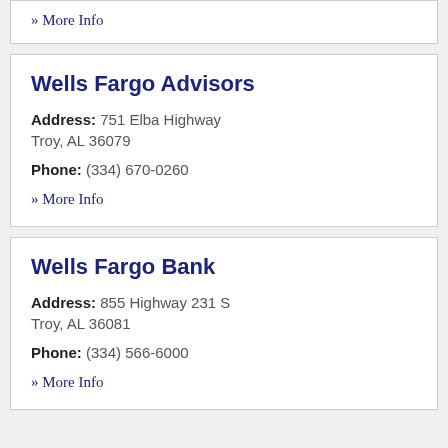» More Info
Wells Fargo Advisors
Address: 751 Elba Highway
Troy, AL 36079
Phone: (334) 670-0260
» More Info
Wells Fargo Bank
Address: 855 Highway 231 S
Troy, AL 36081
Phone: (334) 566-6000
» More Info